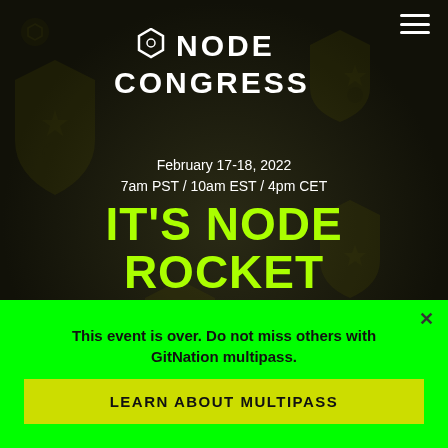NODE CONGRESS
February 17-18, 2022
7am PST / 10am EST / 4pm CET
IT'S NODE ROCKET SCIENCE
2 DAYS of inspiring talks
20+ SPEAKERS Sharing latest insights
This event is over. Do not miss others with GitNation multipass.
LEARN ABOUT MULTIPASS